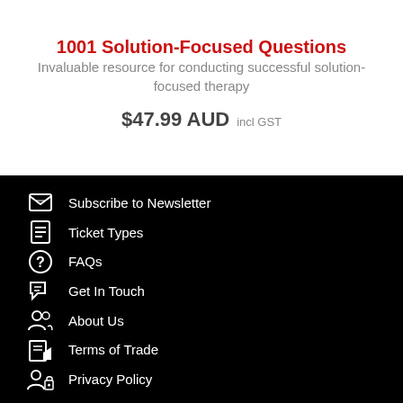1001 Solution-Focused Questions
Invaluable resource for conducting successful solution-focused therapy
$47.99 AUD  incl GST
Subscribe to Newsletter
Ticket Types
FAQs
Get In Touch
About Us
Terms of Trade
Privacy Policy